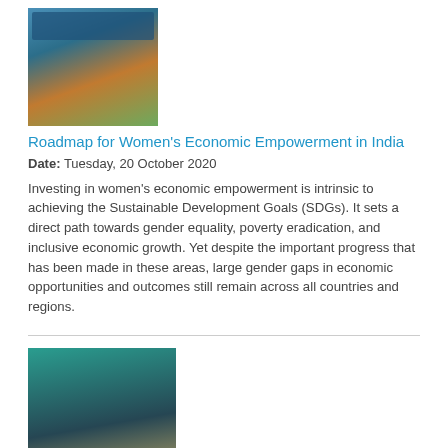[Figure (photo): Book cover thumbnail for Roadmap for Women's Economic Empowerment in India]
Roadmap for Women's Economic Empowerment in India
Date: Tuesday, 20 October 2020
Investing in women's economic empowerment is intrinsic to achieving the Sustainable Development Goals (SDGs). It sets a direct path towards gender equality, poverty eradication, and inclusive economic growth. Yet despite the important progress that has been made in these areas, large gender gaps in economic opportunities and outcomes still remain across all countries and regions.
[Figure (photo): Book cover thumbnail for Annual Report 2019-2020, showing a masked healthcare worker woman, titled 'The World for Women and Girls']
Annual Report 2019–2020